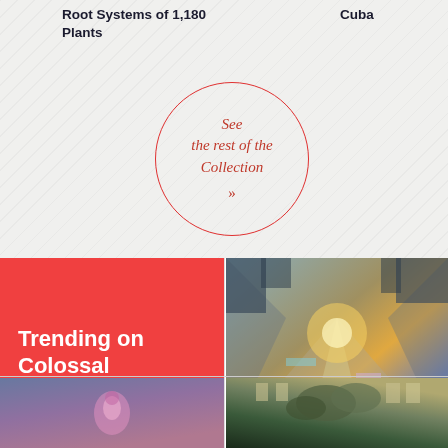Root Systems of 1,180 Plants
Cuba
See the rest of the Collection »
Trending on Colossal
[Figure (photo): Abstract glitchy corridor photo with warm orange and teal light reflections]
[Figure (photo): Dark moody photo with pink/purple tones, possibly a person or flower]
[Figure (photo): Building facade with vegetation growing on it, looking upward]